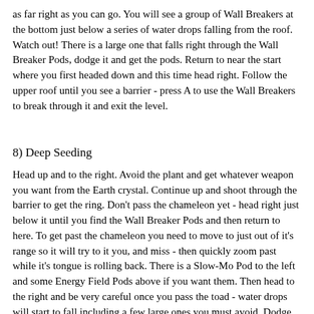as far right as you can go. You will see a group of Wall Breakers at the bottom just below a series of water drops falling from the roof. Watch out! There is a large one that falls right through the Wall Breaker Pods, dodge it and get the pods. Return to near the start where you first headed down and this time head right. Follow the upper roof until you see a barrier - press A to use the Wall Breakers to break through it and exit the level.
8) Deep Seeding
Head up and to the right. Avoid the plant and get whatever weapon you want from the Earth crystal. Continue up and shoot through the barrier to get the ring. Don't pass the chameleon yet - head right just below it until you find the Wall Breaker Pods and then return to here. To get past the chameleon you need to move to just out of it's range so it will try to it you, and miss - then quickly zoom past while it's tongue is rolling back. There is a Slow-Mo Pod to the left and some Energy Field Pods above if you want them. Then head to the right and be very careful once you pass the toad - water drops will start to fall including a few large ones you must avoid. Dodge through them and at the end of the passage go down, use the Wall Breakers to pass the barrier. Then head right, and up to the very top to exit the level.